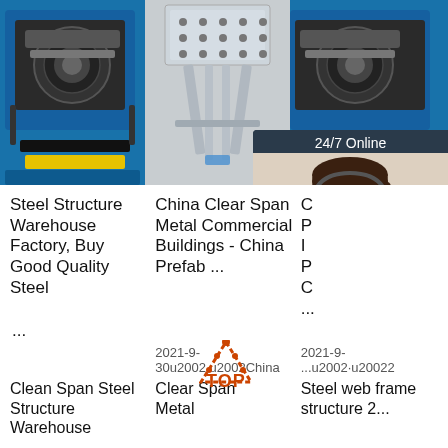[Figure (photo): Three product images in a row: left - blue industrial roll forming machine, center - metal stand/bracket product, right - another blue industrial roll forming machine (partially shown)]
Steel Structure Warehouse Factory, Buy Good Quality Steel ...
China Clear Span Metal Commercial Buildings - China Prefab ...
C... P... I... P... C... ...
Clean Span Steel Structure Warehouse
2021-9-30u2002·u2002China Clear Span Metal
2021-9-...u2002·u20022 Steel web frame structure 2...
[Figure (illustration): 24/7 Online chat widget with agent photo and QUOTATION button]